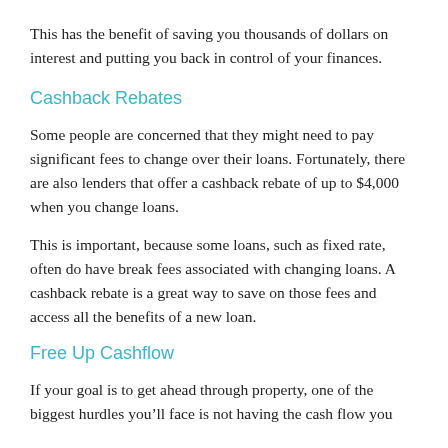This has the benefit of saving you thousands of dollars on interest and putting you back in control of your finances.
Cashback Rebates
Some people are concerned that they might need to pay significant fees to change over their loans. Fortunately, there are also lenders that offer a cashback rebate of up to $4,000 when you change loans.
This is important, because some loans, such as fixed rate, often do have break fees associated with changing loans. A cashback rebate is a great way to save on those fees and access all the benefits of a new loan.
Free Up Cashflow
If your goal is to get ahead through property, one of the biggest hurdles you’ll face is not having the cash flow you